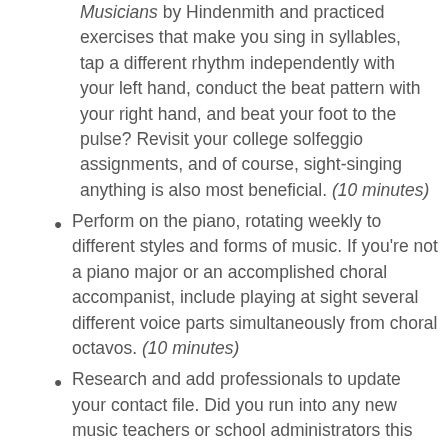used something like Elementary Training for Musicians by Hindenmith and practiced exercises that make you sing in syllables, tap a different rhythm independently with your left hand, conduct the beat pattern with your right hand, and beat your foot to the pulse? Revisit your college solfeggio assignments, and of course, sight-singing anything is also most beneficial. (10 minutes)
Perform on the piano, rotating weekly to different styles and forms of music. If you're not a piano major or an accomplished choral accompanist, include playing at sight several different voice parts simultaneously from choral octavos. (10 minutes)
Research and add professionals to update your contact file. Did you run into any new music teachers or school administrators this